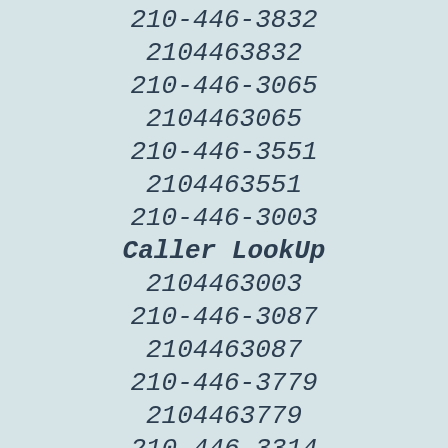210-446-3832
2104463832
210-446-3065
2104463065
210-446-3551
2104463551
210-446-3003
Caller LookUp
2104463003
210-446-3087
2104463087
210-446-3779
2104463779
210-446-3314
2104463314
210-446-3473